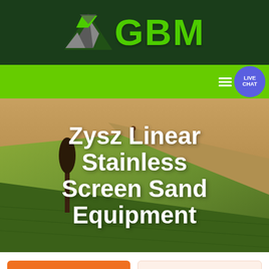[Figure (logo): GBM company logo with green mountain/arrow icon and green GBM text on dark green background]
[Figure (screenshot): Green navigation bar with hamburger menu icon and blue circular live chat bubble showing LIVE CHAT text]
[Figure (photo): Aerial photo of agricultural fields with green and brown tones, a lone tree visible]
Zysz Linear Stainless Screen Sand Equipment
Get a Quote
WhatsApp